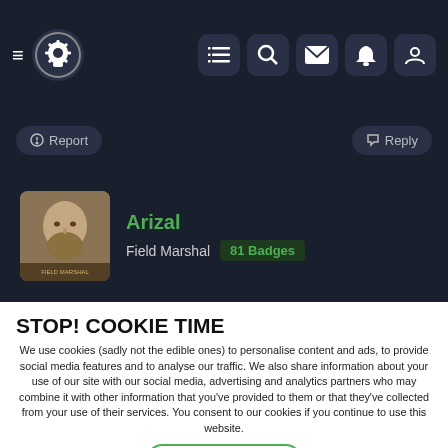Navigation bar with hamburger menu, logo, and icons for list, search, mail, notifications, profile
⊙ Report    ↩ Reply
Arizal
Field Marshal  81 Badges
STOP! COOKIE TIME
We use cookies (sadly not the edible ones) to personalise content and ads, to provide social media features and to analyse our traffic. We also share information about your use of our site with our social media, advertising and analytics partners who may combine it with other information that you've provided to them or that they've collected from your use of their services. You consent to our cookies if you continue to use this website.
✓ ACCEPT